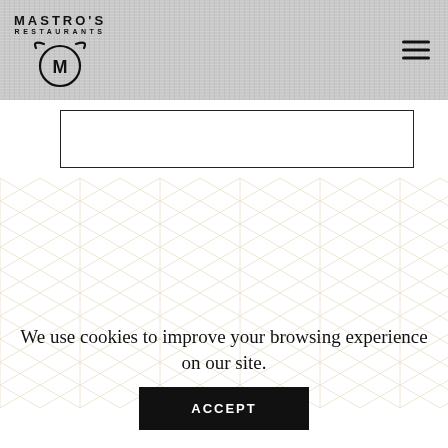[Figure (logo): Mastro's Restaurants logo with circular M emblem on gray textured header with hamburger menu icon]
[Figure (other): Empty white input/search box with black border]
[Figure (illustration): Repeating geometric diamond/hexagon pattern background in light beige/cream tones]
We use cookies to improve your browsing experience on our site.
ACCEPT